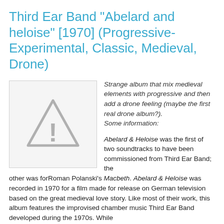Third Ear Band "Abelard and heloise" [1970] (Progressive- Experimental, Classic, Medieval, Drone)
[Figure (other): Album cover placeholder with a grey warning triangle/exclamation mark icon on a light grey background]
Strange album that mix medieval elements with progressive and then add a drone feeling (maybe the first real drone album?). Some information:

Abelard & Heloise was the first of two soundtracks to have been commissioned from Third Ear Band; the other was forRoman Polanski's Macbeth. Abelard & Heloise was recorded in 1970 for a film made for release on German television based on the great medieval love story. Like most of their work, this album features the improvised chamber music Third Ear Band developed during the 1970s. While